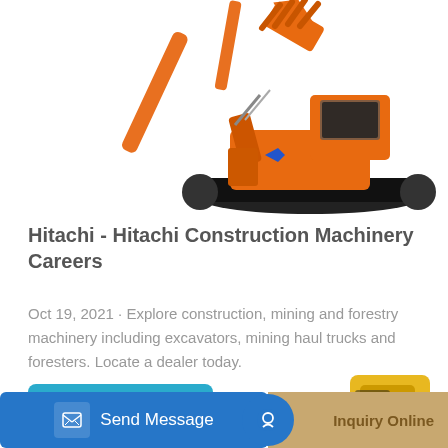[Figure (photo): Orange Hitachi construction excavator with raised bucket arm against white background, partially cropped at top]
Hitachi - Hitachi Construction Machinery Careers
Oct 19, 2021 · Explore construction, mining and forestry machinery including excavators, mining haul trucks and foresters. Locate a dealer today.
[Figure (other): Learn More button — teal/blue rounded rectangle]
[Figure (photo): Partial view of yellow construction machinery at bottom of page]
[Figure (other): Bottom bar with Send Message button (blue) and Inquiry Online button (tan/gold) with chat icon]